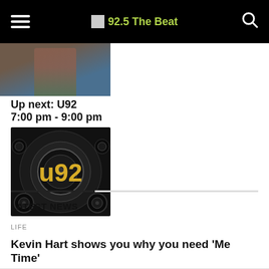92.5 The Beat
[Figure (photo): Partial photo of a person in plaid shirt, cropped at top]
Up next: U92
7:00 pm - 9:00 pm
[Figure (logo): U92 radio station logo — gold lettering with vinyl record and speaker background on black]
LATEST NEWS
LIFE
Kevin Hart shows you why you need 'Me Time'